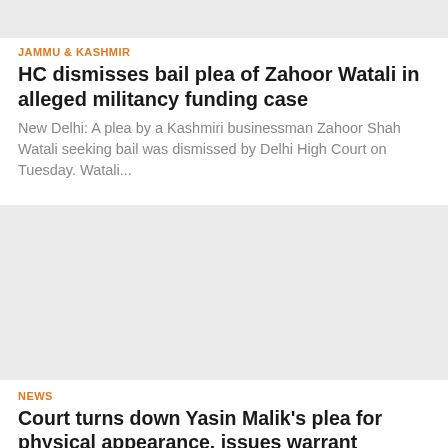[Figure (photo): Top image placeholder, light gray]
JAMMU & KASHMIR
HC dismisses bail plea of Zahoor Watali in alleged militancy funding case
New Delhi: A plea by a Kashmiri businessman Zahoor Shah Watali seeking bail was dismissed by Delhi High Court on Tuesday. Watali...
[Figure (photo): Middle image placeholder, light gray]
NEWS
Court turns down Yasin Malik's plea for physical appearance, issues warrant against Rubaiya Syeed
Jammu: A court in Jammu on Tuesday issued a bailable warrant against Rubaiya Sayeed, after she did not appear for her cross-